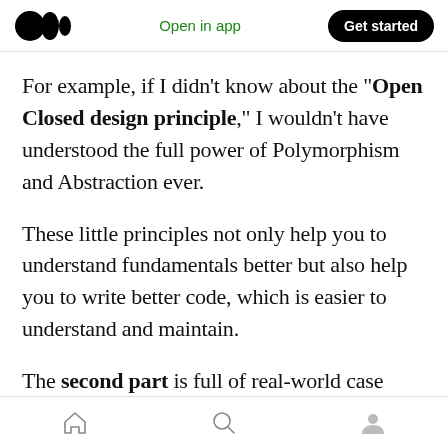Open in app | Get started
For example, if I didn’t know about the “Open Closed design principle,” I wouldn’t have understood the full power of Polymorphism and Abstraction ever.
These little principles not only help you to understand fundamentals better but also help you to write better code, which is easier to understand and maintain.
The second part is full of real-world case studies
Home | Search | Profile